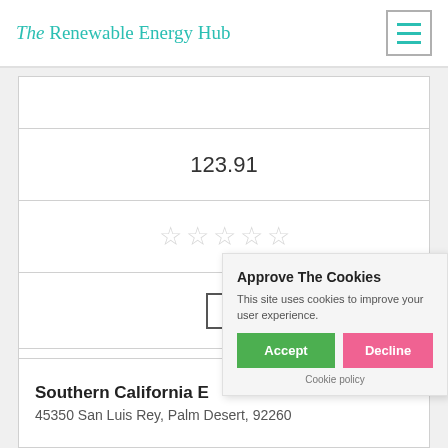The Renewable Energy Hub
123.91
[Figure (other): Five empty star rating icons (unfilled/gray)]
[Figure (other): Empty checkbox square]
Get a Quote
Southern California E... 45350 San Luis Rey, Palm Desert, 92260
Approve The Cookies
This site uses cookies to improve your user experience.
Accept | Decline
Cookie policy